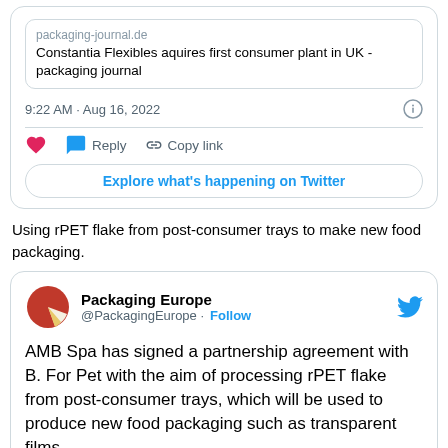[Figure (screenshot): Partial Twitter/X embed card showing a link preview for packaging-journal.de with title 'Constantia Flexibles aquires first consumer plant in UK - packaging journal', timestamp '9:22 AM · Aug 16, 2022', like/reply/copy link actions, and 'Explore what's happening on Twitter' button]
Using rPET flake from post-consumer trays to make new food packaging.
[Figure (screenshot): Twitter/X embed card for Packaging Europe (@PackagingEurope) with Follow button and tweet text: 'AMB Spa has signed a partnership agreement with B. For Pet with the aim of processing rPET flake from post-consumer trays, which will be used to produce new food packaging such as transparent films']